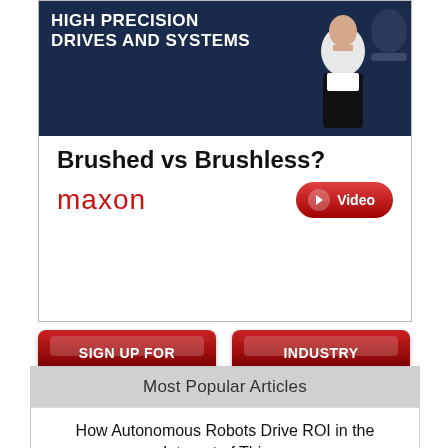[Figure (advertisement): Maxon high precision drives and systems ad. Shows person in suit, text 'Brushed vs Brushless?', maxon logo in red, and a Video button.]
[Figure (infographic): Four red buttons: SIGN UP FOR NEWSLETTER, INDUSTRY WHITE PAPERS, EVENTS CALENDAR, INDUSTRY NEWS]
Most Popular Articles
How Autonomous Robots Drive ROI in the Internet of Things
07/25/22 | Industrial Robotics